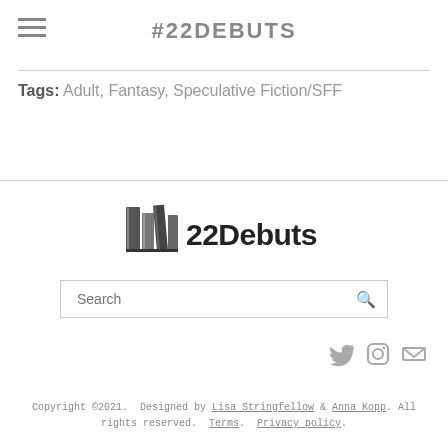#22DEBUTS
Tags: Adult, Fantasy, Speculative Fiction/SFF
[Figure (logo): 22Debuts logo with books icon and text '22Debuts' in bold]
Search
Copyright ©2021. Designed by Lisa Stringfellow & Anna Kopp. All rights reserved. Terms. Privacy policy.